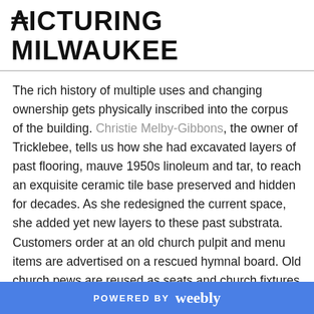PICTURING MILWAUKEE
The rich history of multiple uses and changing ownership gets physically inscribed into the corpus of the building. Christie Melby-Gibbons, the owner of Tricklebee, tells us how she had excavated layers of past flooring, mauve 1950s linoleum and tar, to reach an exquisite ceramic tile base preserved and hidden for decades. As she redesigned the current space, she added yet new layers to these past substrata. Customers order at an old church pulpit and menu items are advertised on a rescued hymnal board. Old church pews are reused as seats and church fixtures saved from the Moravian church in Kellner furnish the interiors. Wood taken from old, now demolished, Milwaukee buildings cover part of an interior wall.
POWERED BY weebly